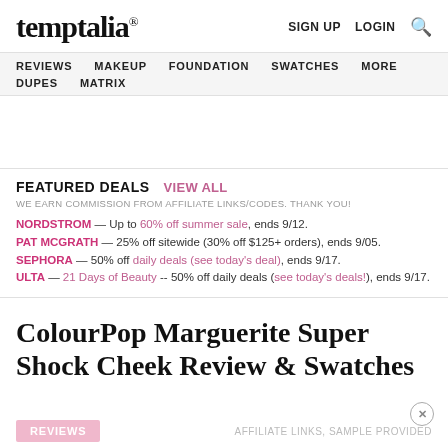temptalia® — SIGN UP  LOGIN  🔍
REVIEWS  MAKEUP  FOUNDATION  SWATCHES  MORE  DUPES  MATRIX
FEATURED DEALS  VIEW ALL
WE EARN COMMISSION FROM AFFILIATE LINKS/CODES. THANK YOU!
NORDSTROM — Up to 60% off summer sale, ends 9/12.
PAT MCGRATH — 25% off sitewide (30% off $125+ orders), ends 9/05.
SEPHORA — 50% off daily deals (see today's deal), ends 9/17.
ULTA — 21 Days of Beauty -- 50% off daily deals (see today's deals!), ends 9/17.
ColourPop Marguerite Super Shock Cheek Review & Swatches
REVIEWS  AFFILIATE LINKS, SAMPLE PROVIDED